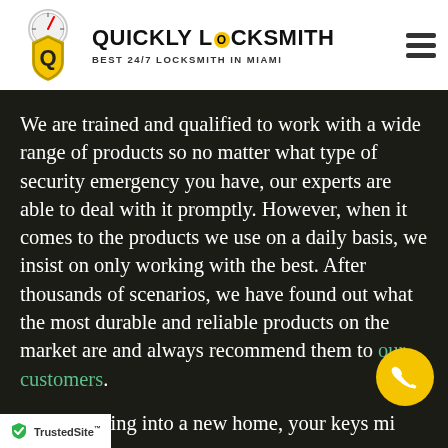[Figure (logo): Quickly Locksmith logo with shield icon and compass gauge, text: QUICKLY LOCKSMITH / BEST 24/7 LOCKSMITH IN MIAMI]
We are trained and qualified to work with a wide range of products so no matter what type of security emergency you have, our experts are able to deal with it promptly. However, when it comes to the products we use on a daily basis, we insist on only working with the best. After thousands of scenarios, we have found out what the most durable and reliable products on the market are and always recommend them to our customers.
When moving into a new home, your keys might have changed hands a number of times – from the
[Figure (logo): TrustedSite badge with green checkmark shield]